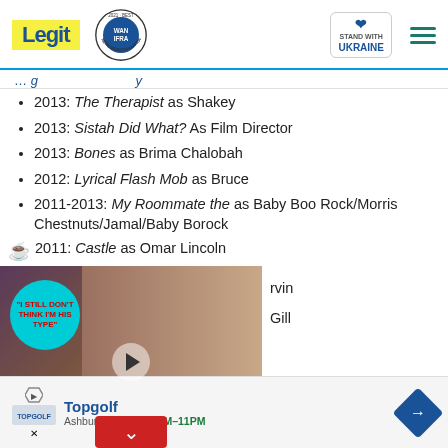Legit | WAN IFRA 2021 Best News Website in Africa | Stand with Ukraine
2013: The Therapist as Shakey
2013: Sistah Did What? As Film Director
2013: Bones as Brima Chalobah
2012: Lyrical Flash Mob as Bruce
2011-2013: My Roommate the as Baby Boo Rock/Morris Chestnuts/Jamal/Baby Borock
2011: Castle as Omar Lincoln
[Figure (photo): Embedded video overlay showing a couple at a formal event, with a circular teal badge reading 'I STILL DON'T THINK I'M HIS TYPE', a play button, and a red chevron/close button. Partial text visible on right: '...rvin' and '...Gill']
Topgolf Family Fun
Topgolf | Ashburn OPEN 10 AM–11PM